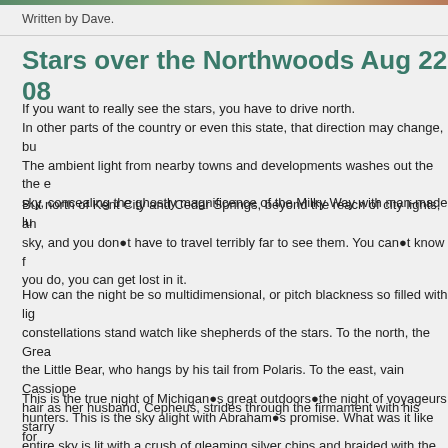Written by Dave.
Stars over the Northwoods Aug 22 08
If you want to really see the stars, you have to drive north.
In other parts of the country or even this state, that direction may change, bu
The ambient light from nearby towns and developments washes out the the e
sky, concealing the ghostly magnificence of the Milky Way with man-made lu
But north of Kent City and Cedar Springs, beyond the reach of city lights, an
sky, and you don●t have to travel terribly far to see them. You can●t know f
you do, you can get lost in it.
How can the night be so multidimensional, or pitch blackness so filled with lig
constellations stand watch like shepherds of the stars. To the north, the Grea
the Little Bear, who hangs by his tail from Polaris. To the east, vain Cassiope
hair as her husband, Cepheus, strides through the firmament with his starry
entire sky is lit with a crush of gleaming silver chips and braided with the fain
This is the true night of Michigan●s great outdoors●the night of voyageurs
hunters. This is the sky alight with Abraham●s promise. What was it like for
the voice of God calling him out of his tent, and to sense a mighty presence o
generations to come as he gazed up into an infinity of stars and possibilities